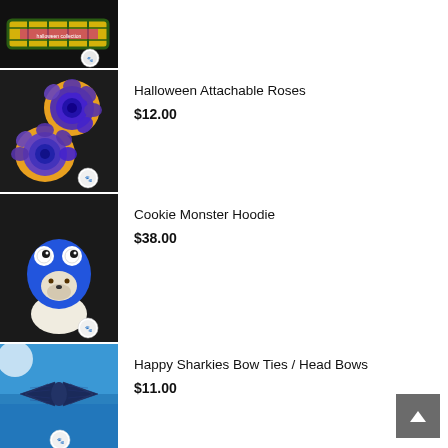[Figure (photo): Plaid/tartan dog collar with Halloween text on black background, partially visible at top]
[Figure (photo): Two purple and orange decorative fabric roses on black background with small logo badge]
Halloween Attachable Roses
$12.00
[Figure (photo): White dog wearing blue Cookie Monster costume hoodie with googly eyes on black background with small logo badge]
Cookie Monster Hoodie
$38.00
[Figure (photo): Navy blue shark bow tie on aqua blue underwater background with small logo badge]
Happy Sharkies Bow Ties / Head Bows
$11.00